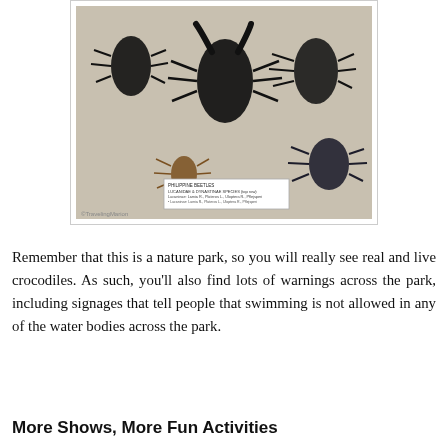[Figure (photo): A museum display of pinned Philippine beetles including large stag beetles and other species, arranged on a white background. A label card at the bottom reads about Philippine beetles, lucanidae and dynastinae species. Watermark reads ©TravelingMarion.]
Remember that this is a nature park, so you will really see real and live crocodiles. As such, you'll also find lots of warnings across the park, including signages that tell people that swimming is not allowed in any of the water bodies across the park.
More Shows, More Fun Activities